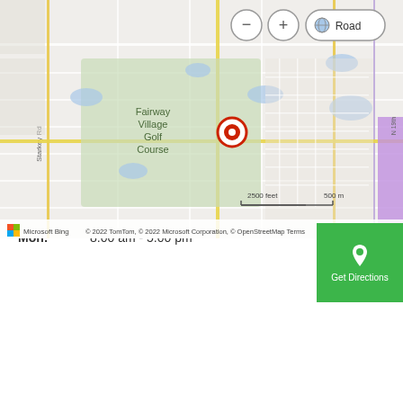[Figure (map): Bing map showing location near Fairway Village Golf Course with a red pin marker, zoom controls, and map attribution. Shows 'Road' view type button, scale bar showing 2500 feet / 500 m, and copyright: © 2022 TomTom, © 2022 Microsoft Corporation, © OpenStreetMap, Terms]
Address
1120 S Belcher Rd
Suite 2
Largo, FL 33771
(727) 826-0838
www.peaksofhealth.com
Hours
Mon: 8:00 am - 5:00 pm